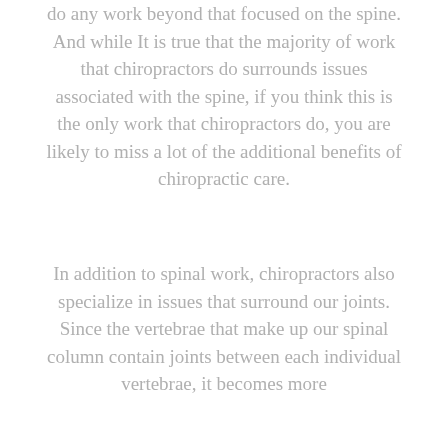do any work beyond that focused on the spine. And while It is true that the majority of work that chiropractors do surrounds issues associated with the spine, if you think this is the only work that chiropractors do, you are likely to miss a lot of the additional benefits of chiropractic care.
In addition to spinal work, chiropractors also specialize in issues that surround our joints. Since the vertebrae that make up our spinal column contain joints between each individual vertebrae, it becomes more